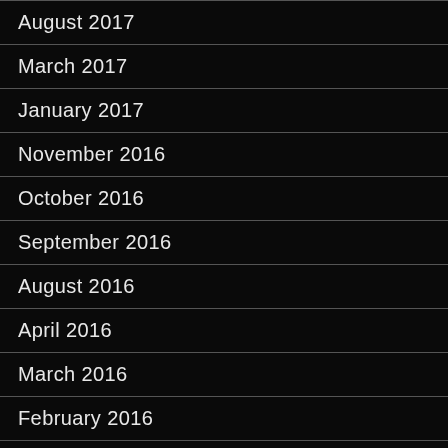August 2017
March 2017
January 2017
November 2016
October 2016
September 2016
August 2016
April 2016
March 2016
February 2016
January 2016
November 2015
October 2015